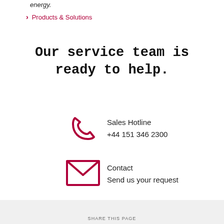energy.
› Products & Solutions
Our service team is ready to help.
[Figure (illustration): Red telephone handset icon representing Sales Hotline]
Sales Hotline
+44 151 346 2300
[Figure (illustration): Red envelope/mail icon representing Contact]
Contact
Send us your request
SHARE THIS PAGE